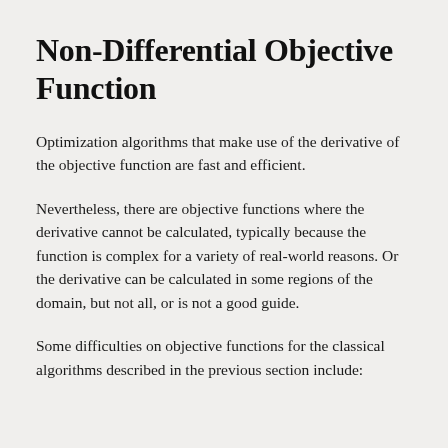Non-Differential Objective Function
Optimization algorithms that make use of the derivative of the objective function are fast and efficient.
Nevertheless, there are objective functions where the derivative cannot be calculated, typically because the function is complex for a variety of real-world reasons. Or the derivative can be calculated in some regions of the domain, but not all, or is not a good guide.
Some difficulties on objective functions for the classical algorithms described in the previous section include: